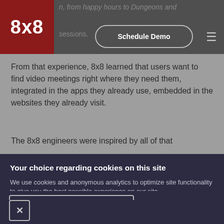8x8 | n, from happy hours to Dungeons and sessions. [Schedule Demo]
From that experience, 8x8 learned that users want to find video meetings right where they need them, integrated in the apps they already use, embedded in the websites they already visit.
The 8x8 engineers were inspired by all of that
Your choice regarding cookies on this site
We use cookies and anonymous analytics to optimize site functionality to give you the best possible experience on our site
Accept Recommended Settings
Settings